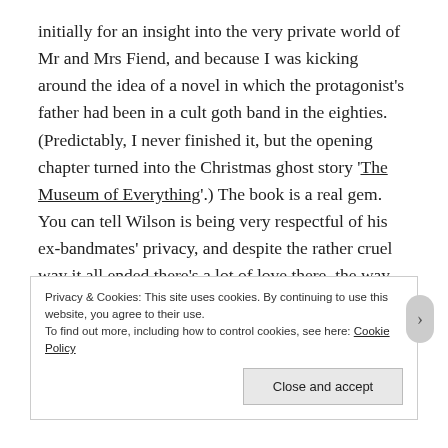initially for an insight into the very private world of Mr and Mrs Fiend, and because I was kicking around the idea of a novel in which the protagonist's father had been in a cult goth band in the eighties. (Predictably, I never finished it, but the opening chapter turned into the Christmas ghost story 'The Museum of Everything'.) The book is a real gem. You can tell Wilson is being very respectful of his ex-bandmates' privacy, and despite the rather cruel way it all ended there's a lot of love there, the way you can't ever really fall out with very old friends, whatever they do. Wilson is a nice guy – I've met him – so
Privacy & Cookies: This site uses cookies. By continuing to use this website, you agree to their use.
To find out more, including how to control cookies, see here: Cookie Policy
Close and accept